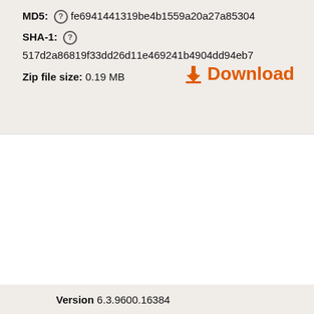MD5: fe6941441319be4b1559a20a27a85304
SHA-1: 517d2a86819f33dd26d11e469241b4904dd94eb7
Download
Zip file size: 0.19 MB
Version 6.3.9600.16384